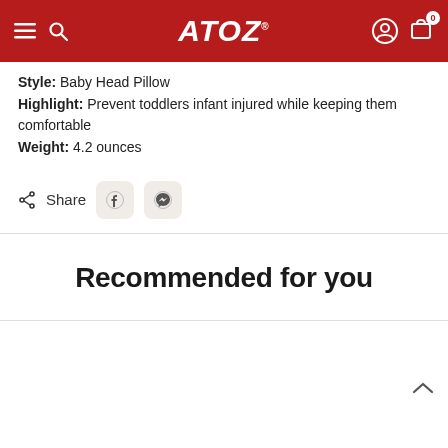ATOZ
Style: Baby Head Pillow
Highlight: Prevent toddlers infant injured while keeping them comfortable
Weight: 4.2 ounces
< Share
Recommended for you